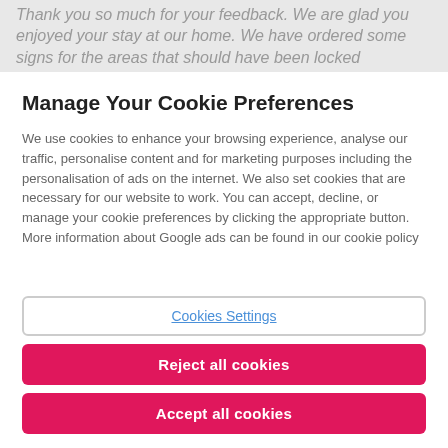Thank you so much for your feedback. We are glad you enjoyed your stay at our home. We have ordered some signs for the areas that should have been locked
Manage Your Cookie Preferences
We use cookies to enhance your browsing experience, analyse our traffic, personalise content and for marketing purposes including the personalisation of ads on the internet. We also set cookies that are necessary for our website to work. You can accept, decline, or manage your cookie preferences by clicking the appropriate button. More information about Google ads can be found in our cookie policy
Cookies Settings
Reject all cookies
Accept all cookies